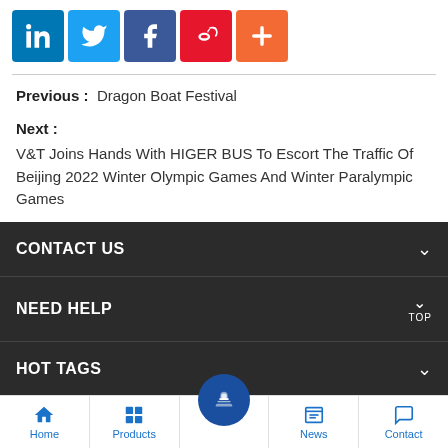[Figure (infographic): Social sharing icons: LinkedIn (blue), Twitter (light blue), Facebook (dark blue), Weibo (red), More/Plus (orange)]
Previous :  Dragon Boat Festival
Next :
V&T Joins Hands With HIGER BUS To Escort The Traffic Of Beijing 2022 Winter Olympic Games And Winter Paralympic Games
CONTACT US
NEED HELP
HOT TAGS
Home | Products | (center button) | News | Contact